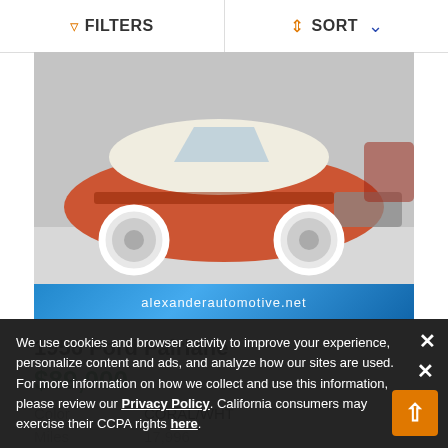FILTERS | SORT
[Figure (photo): 1956 Ford Fairlane convertible, coral/orange and white two-tone, in a showroom. Watermark banner at bottom reads alexanderautomotive.net]
1956 Ford Fairlane
$89,000
Color   CORAL/WHT
Miles   17,996
We use cookies and browser activity to improve your experience, personalize content and ads, and analyze how our sites are used. For more information on how we collect and use this information, please review our Privacy Policy. California consumers may exercise their CCPA rights here.